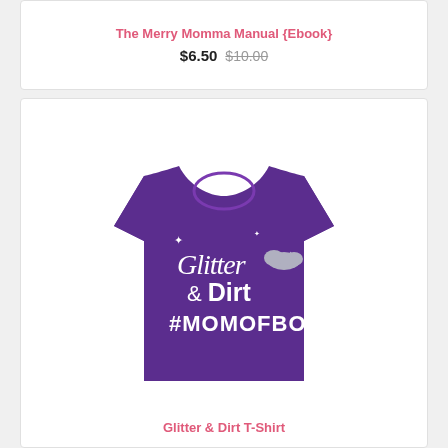The Merry Momma Manual {Ebook}
$6.50 $10.00
[Figure (photo): Purple t-shirt with Glitter & Dirt #MOMOFBOTH design printed in white script and bold text]
Glitter & Dirt T-Shirt